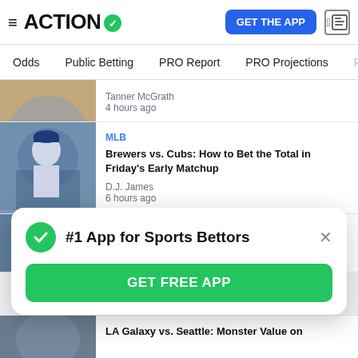ACTION (logo with checkmark) | GET THE APP | news icon
Odds | Public Betting | PRO Report | PRO Projections
Tanner McGrath
4 hours ago
MLB
Brewers vs. Cubs: How to Bet the Total in Friday's Early Matchup
D.J. James
6 hours ago
NFL
Koerner's 4 Bears vs. Seahawks PrizePicks
#1 App for Sports Bettors
GET FREE APP
LA Galaxy vs. Seattle: Monster Value on